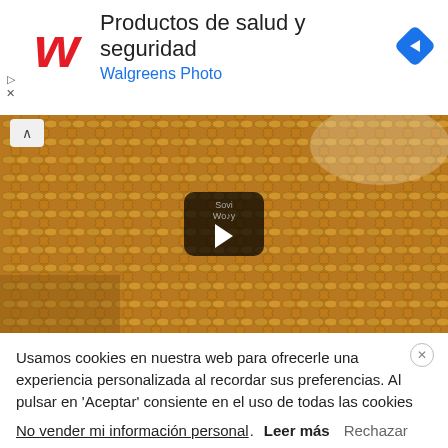[Figure (advertisement): Walgreens ad banner with red W logo, text 'Productos de salud y seguridad' and 'Walgreens Photo', and blue navigation diamond icon on right]
[Figure (screenshot): Video thumbnail showing a golden/mustard crochet or knit fabric texture close-up, with a play button overlay labeled 'Sovi Wody']
Usamos cookies en nuestra web para ofrecerle una experiencia personalizada al recordar sus preferencias. Al pulsar en 'Aceptar' consiente en el uso de todas las cookies
No vender mi información personal. Leer más Rechazar
Aceptar  Configuración de cookies